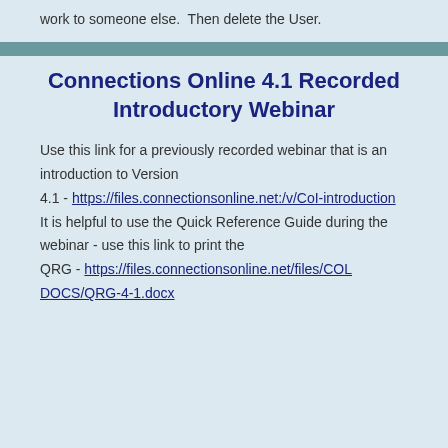work to someone else.  Then delete the User.
Connections Online 4.1 Recorded Introductory Webinar
Use this link for a previously recorded webinar that is an introduction to Version 4.1 - https://files.connectionsonline.net:/v/CoI-introduction It is helpful to use the Quick Reference Guide during the webinar - use this link to print the QRG - https://files.connectionsonline.net/files/COL DOCS/QRG-4-1.docx